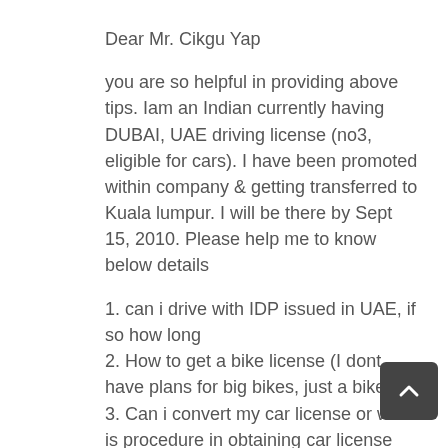Dear Mr. Cikgu Yap
you are so helpful in providing above tips. Iam an Indian currently having DUBAI, UAE driving license (no3, eligible for cars). I have been promoted within company & getting transferred to Kuala lumpur. I will be there by Sept 15, 2010. Please help me to know below details
1. can i drive with IDP issued in UAE, if so how long
2. How to get a bike license (I dont have plans for big bikes, just a bike)
3. Can i convert my car license or what is procedure in obtaining car license
4. How long it will take to get license
Please help me to know these details, please kindly mail me on